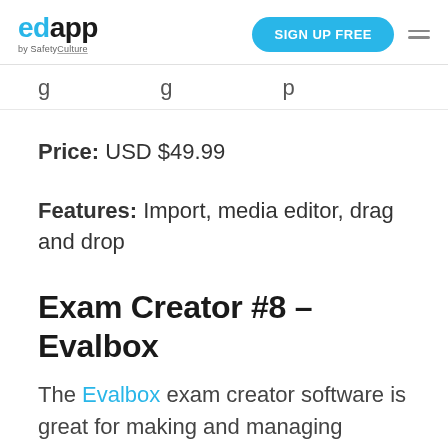edapp by SafetyCulture — SIGN UP FREE
Price: USD $49.99
Features: Import, media editor, drag and drop
Exam Creator #8 – Evalbox
The Evalbox exam creator software is great for making and managing